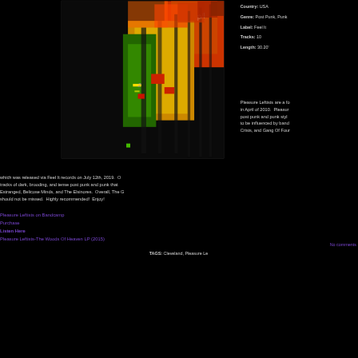[Figure (photo): Album art for Pleasure Leftists - colorful abstract image with red, yellow, green and black geometric shapes on dark background with p/l text]
Country: USA
Genre: Post Punk, Punk
Label: Feel It
Tracks: 10
Length: 30.20'
Pleasure Leftists are a fo in April of 2010. Pleasur post punk and punk styl to be influenced by band Crisis, and Gang Of Four which was released via Feel It records on July 12th, 2019. O tracks of dark, brooding, and tense post punk and punk that Estranged, Belicose Minds, and The Elsinores. Overall, The G should not be missed. Highly recommended! Enjoy!
Pleasure Leftists on Bandcamp
Purchase
Listen Here
Pleasure Leftists-The Woods Of Heaven LP (2015)
No comments
TAGS: Cleveland, Pleasure Le